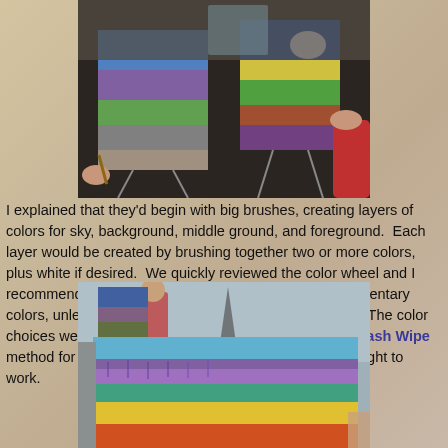[Figure (photo): Overhead view of art class participants painting colorful landscape canvases on dark tables, hands visible holding brushes]
I explained that they'd begin with big brushes, creating layers of colors for sky, background, middle ground, and foreground.  Each layer would be created by brushing together two or more colors, plus white if desired.  We quickly reviewed the color wheel and I recommended mixing analogous colors but not complementary colors, unless they wanted to create browns and grays.  The color choices were totally up to them.  I explained my Wipe Wash Wipe method for keeping their brushes clean, and they went right to work.
[Figure (photo): Close-up of a colorful landscape painting in progress with purple, teal, yellow, and orange horizontal bands of color, with art class participants visible in background]